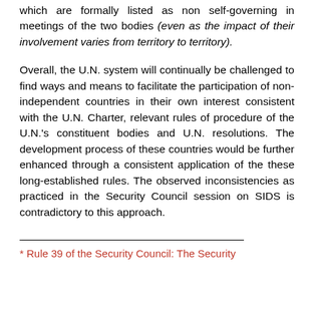which are formally listed as non self-governing in meetings of the two bodies (even as the impact of their involvement varies from territory to territory).
Overall, the U.N. system will continually be challenged to find ways and means to facilitate the participation of non-independent countries in their own interest consistent with the U.N. Charter, relevant rules of procedure of the U.N.'s constituent bodies and U.N. resolutions. The development process of these countries would be further enhanced through a consistent application of the these long-established rules. The observed inconsistencies as practiced in the Security Council session on SIDS is contradictory to this approach.
* Rule 39 of the Security Council: The Security